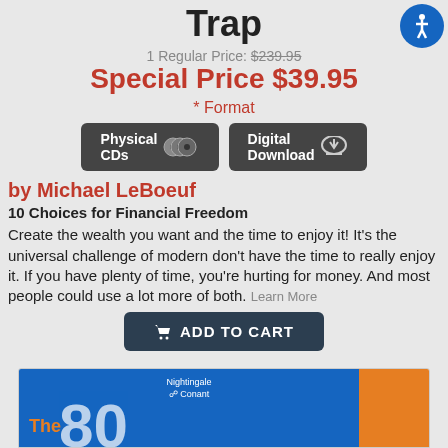Trap
1 Regular Price: $239.95
Special Price $39.95
* Format
[Figure (other): Two format selection buttons: Physical CDs and Digital Download]
by Michael LeBoeuf
10 Choices for Financial Freedom
Create the wealth you want and the time to enjoy it! It's the universal challenge of modern don't have the time to really enjoy it. If you have plenty of time, you're hurting for money. And most people could use a lot more of both. Learn More
[Figure (other): ADD TO CART button]
[Figure (other): Nightingale Conant product preview image showing blue and orange cover with 'The' text and large number]